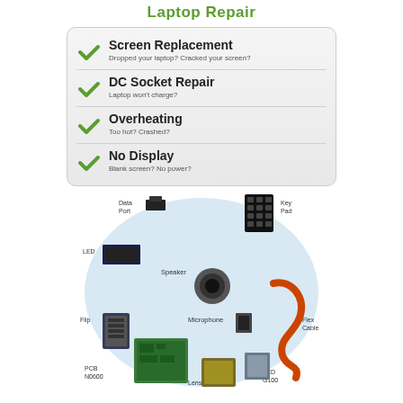Laptop Repair
Screen Replacement
Dropped your laptop? Cracked your screen?
DC Socket Repair
Laptop won't charge?
Overheating
Too hot? Crashed?
No Display
Blank screen? No power?
[Figure (infographic): Circular diagram of mobile phone components including Data Port, Key Pad, LED, Speaker, Flip, Microphone, Flex Cable, LCD G100, Lens, PCB N0600]